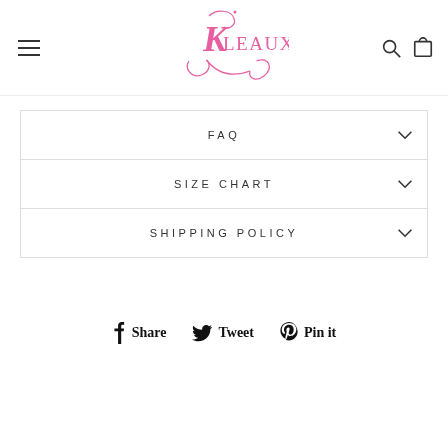[Figure (logo): Kleaux brand logo in pink script/serif font with decorative swirls]
FAQ
SIZE CHART
SHIPPING POLICY
Share  Tweet  Pin it